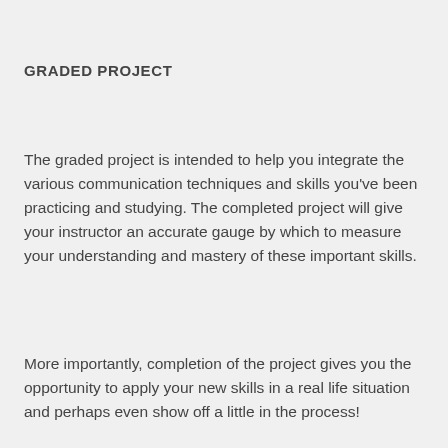GRADED PROJECT
The graded project is intended to help you integrate the various communication techniques and skills you've been practicing and studying. The completed project will give your instructor an accurate gauge by which to measure your understanding and mastery of these important skills.
More importantly, completion of the project gives you the opportunity to apply your new skills in a real life situation and perhaps even show off a little in the process!